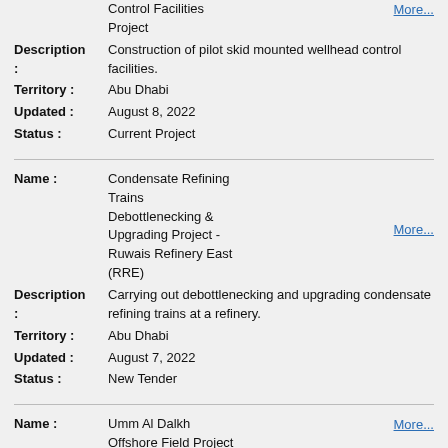Control Facilities Project    More...
Description: Construction of pilot skid mounted wellhead control facilities.
Territory: Abu Dhabi
Updated: August 8, 2022
Status: Current Project
Name: Condensate Refining Trains Debottlenecking & Upgrading Project - Ruwais Refinery East (RRE)    More...
Description: Carrying out debottlenecking and upgrading condensate refining trains at a refinery.
Territory: Abu Dhabi
Updated: August 7, 2022
Status: New Tender
Name: Umm Al Dalkh Offshore Field Project    More...
Description: Development of an Offshore Field to increase oil production capacity to 20,000 barrels per day.